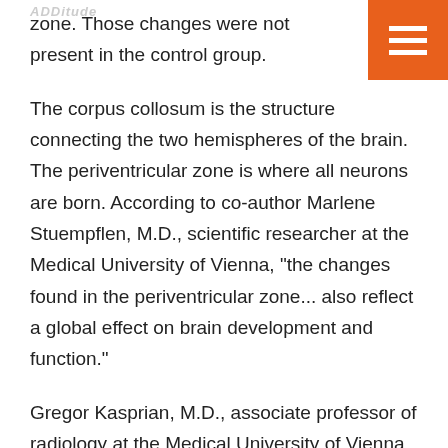Additude
zone. Those changes were not present in the control group.
The corpus collosum is the structure connecting the two hemispheres of the brain. The periventricular zone is where all neurons are born. According to co-author Marlene Stuempflen, M.D., scientific researcher at the Medical University of Vienna, "the changes found in the periventricular zone... also reflect a global effect on brain development and function."
Gregor Kasprian, M.D., associate professor of radiology at the Medical University of Vienna and co-author, said of the study results, "It appears that alcohol exposure during pregnancy puts the brain on a path of development that diverges from a normal trajectory."